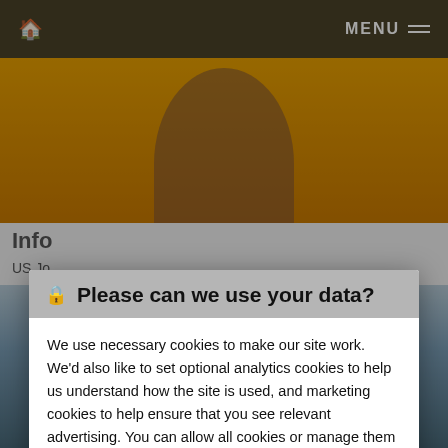🏠  MENU ≡
[Figure (photo): Website screenshot showing a navigation bar at top with a home icon and MENU text, a photo of a woman with arms raised against an orange background, partially visible page content with 'Info' and 'US Jo' text, and a cookie consent modal overlay in the center]
🔒 Please can we use your data?
We use necessary cookies to make our site work. We'd also like to set optional analytics cookies to help us understand how the site is used, and marketing cookies to help ensure that you see relevant advertising. You can allow all cookies or manage them individually. More information